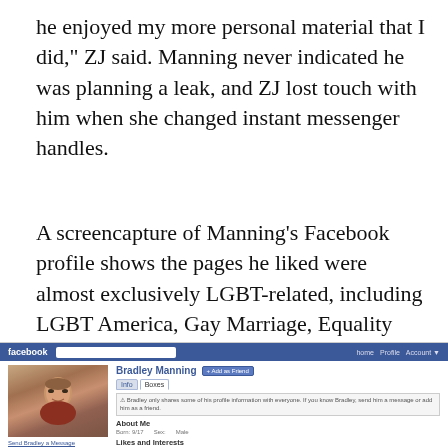he enjoyed my more personal material that I did," ZJ said. Manning never indicated he was planning a leak, and ZJ lost touch with him when she changed instant messenger handles.
A screencapture of Manning's Facebook profile shows the pages he liked were almost exclusively LGBT-related, including LGBT America, Gay Marriage, Equality Maryland, Dan Savage, Human Rights Campaign, etc. (click to enlarge):
[Figure (screenshot): A screenshot of Bradley Manning's Facebook profile page showing his name, profile photo (young man in red shirt), tabs for Info and Boxes, an About Me section with fields for Born, Sex, and blank values, a Likes and Interests section with items including music, news, pages and a small thumbnail image. The Facebook top bar is blue with the Facebook logo in white and a search box.]